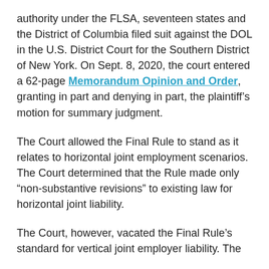authority under the FLSA, seventeen states and the District of Columbia filed suit against the DOL in the U.S. District Court for the Southern District of New York. On Sept. 8, 2020, the court entered a 62-page Memorandum Opinion and Order, granting in part and denying in part, the plaintiff’s motion for summary judgment.
The Court allowed the Final Rule to stand as it relates to horizontal joint employment scenarios. The Court determined that the Rule made only “non-substantive revisions” to existing law for horizontal joint liability.
The Court, however, vacated the Final Rule’s standard for vertical joint employer liability. The